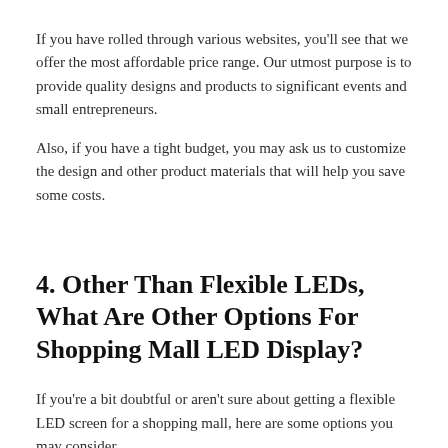If you have rolled through various websites, you'll see that we offer the most affordable price range. Our utmost purpose is to provide quality designs and products to significant events and small entrepreneurs.
Also, if you have a tight budget, you may ask us to customize the design and other product materials that will help you save some costs.
4. Other Than Flexible LEDs, What Are Other Options For Shopping Mall LED Display?
If you're a bit doubtful or aren't sure about getting a flexible LED screen for a shopping mall, here are some options you may consider.
LED Poster
LED posters are...